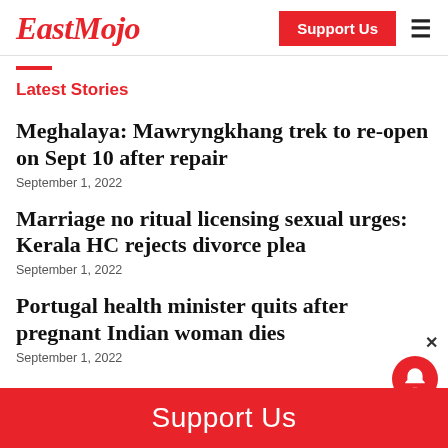EastMojo
Latest Stories
Meghalaya: Mawryngkhang trek to re-open on Sept 10 after repair
September 1, 2022
Marriage no ritual licensing sexual urges: Kerala HC rejects divorce plea
September 1, 2022
Portugal health minister quits after pregnant Indian woman dies
September 1, 2022
Support Us